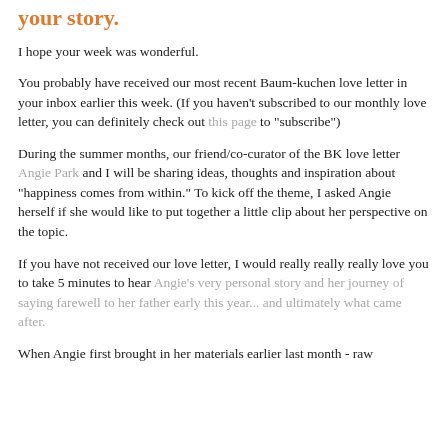your story.
I hope your week was wonderful.
You probably have received our most recent Baum-kuchen love letter in your inbox earlier this week. (If you haven't subscribed to our monthly love letter, you can definitely check out this page to "subscribe")
During the summer months, our friend/co-curator of the BK love letter Angie Park and I will be sharing ideas, thoughts and inspiration about "happiness comes from within." To kick off the theme, I asked Angie herself if she would like to put together a little clip about her perspective on the topic.
If you have not received our love letter, I would really really really love you to take 5 minutes to hear Angie's very personal story and her journey of saying farewell to her father early this year... and ultimately what came after.
When Angie first brought in her materials earlier last month - raw